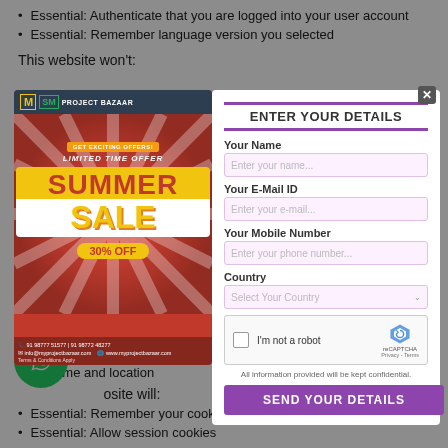Essential: Authenticate that you are logged into your user account
Essential: Remember language version you selected
This website won't:
[Figure (infographic): Project Bazaar summer sale advertisement: red background with sunburst rays, yellow badge showing GET EXCITING OFFERS!, LIMITED TIME OFFER in italic white, SUMMER SALE in large yellow and white text, 30% OFF badge, phone numbers and website at bottom]
[Figure (screenshot): Lead capture form modal with title ENTER YOUR DETAILS, fields for Your Name, Your E-Mail ID, Your Mobile Number, Country dropdown, reCAPTCHA widget, confidentiality note, and SEND YOUR DETAILS purple button]
as name and location
Essential: Remember your cookie permission settings
Essential: Allow session cookies